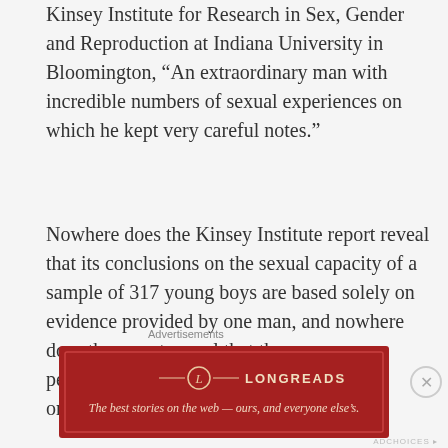Kinsey Institute for Research in Sex, Gender and Reproduction at Indiana University in Bloomington, “An extraordinary man with incredible numbers of sexual experiences on which he kept very careful notes.”
Nowhere does the Kinsey Institute report reveal that its conclusions on the sexual capacity of a sample of 317 young boys are based solely on evidence provided by one man, and nowhere does the report reveal that the man was a pedophile – or, as Bancroft calls him, “an omniphile, an extraordinarily active man.”
[Figure (other): Longreads advertisement banner: red background with Longreads logo and tagline 'The best stories on the web — ours, and everyone else’s.']